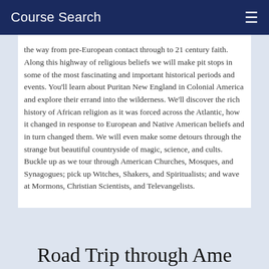Course Search
the way from pre-European contact through to 21 century faith. Along this highway of religious beliefs we will make pit stops in some of the most fascinating and important historical periods and events. You'll learn about Puritan New England in Colonial America and explore their errand into the wilderness. We'll discover the rich history of African religion as it was forced across the Atlantic, how it changed in response to European and Native American beliefs and in turn changed them. We will even make some detours through the strange but beautiful countryside of magic, science, and cults. Buckle up as we tour through American Churches, Mosques, and Synagogues; pick up Witches, Shakers, and Spiritualists; and wave at Mormons, Christian Scientists, and Televangelists.
Road Trip through Ame